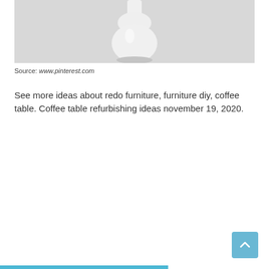[Figure (photo): A white ceramic or porcelain object (possibly a figurine or lamp base) with a bulbous shape at the bottom, shown against a light gray/white textured background.]
Source: www.pinterest.com
See more ideas about redo furniture, furniture diy, coffee table. Coffee table refurbishing ideas november 19, 2020.